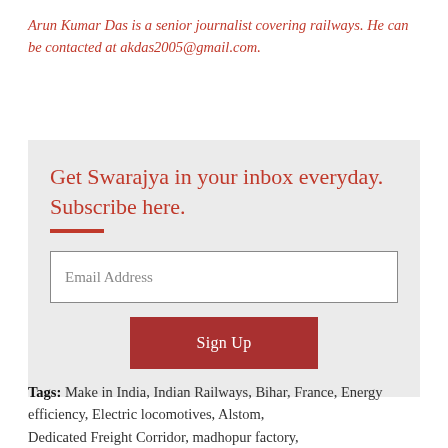Arun Kumar Das is a senior journalist covering railways. He can be contacted at akdas2005@gmail.com.
Get Swarajya in your inbox everyday. Subscribe here.
Email Address
Sign Up
Tags: Make in India, Indian Railways, Bihar, France, Energy efficiency, Electric locomotives, Alstom, Dedicated Freight Corridor, madhopur factory,